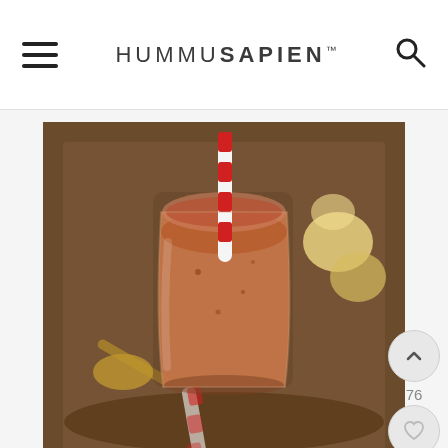HUMMUSAPIEN™
[Figure (photo): A glass jar filled with a dark chocolate-brown smoothie and a red-and-white striped straw, sitting on a dark rustic tray with sliced banana visible in the background.]
Gingerbread Smoothie Recipe
★ ★ ★ ★ ★  5 from 4 reviews
Author: Alexis Joseph
Prep Time: 5 mins